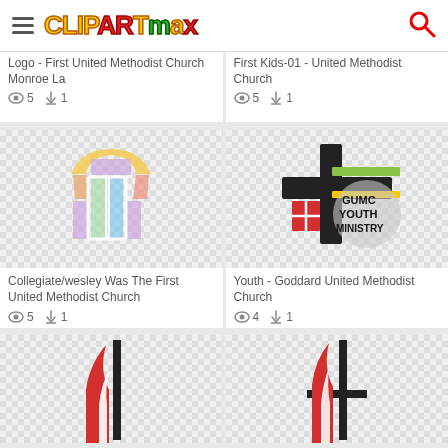ClipartMax
Logo - First United Methodist Church Monroe La
👁 5  ⬇ 1
First Kids-01 - United Methodist Church
👁 5  ⬇ 1
[Figure (illustration): Colorful stained glass window illustration with arch shape, showing purple, blue, green, red, orange, yellow panels]
Collegiate/wesley Was The First United Methodist Church
👁 5  ⬇ 1
[Figure (illustration): GUMC Youth Ministry logo with cross design, dark cross with red, green, yellow elements]
Youth - Goddard United Methodist Church
👁 4  ⬇ 1
[Figure (illustration): Partial view of United Methodist Church cross and flame logo, red flame and black cross]
[Figure (illustration): Partial view of United Methodist Church cross and flame logo, red flame and black cross]